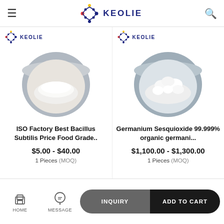[Figure (logo): Keolie brand logo with molecule graphic and company name in dark blue, search icon and hamburger menu in top navigation bar]
[Figure (photo): Product image: white powder in a dark-rimmed bowl, Keolie branded, for ISO Factory Best Bacillus Subtilis Price Food Grade]
ISO Factory Best Bacillus Subtilis Price Food Grade..
$5.00 - $40.00
1 Pieces (MOQ)
[Figure (photo): Product image: white powder chunks in a grey bowl, Keolie branded, for Germanium Sesquioxide 99.999% organic germani...]
Germanium Sesquioxide 99.999% organic germani...
$1,100.00 - $1,300.00
1 Pieces (MOQ)
HOME   MESSAGE   INQUIRY   ADD TO CART